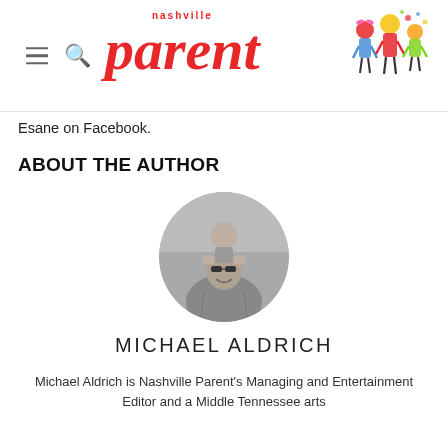nashville parent [logo with illustrated family figures]
Esane on Facebook.
ABOUT THE AUTHOR
[Figure (photo): Circular black-and-white photo of Michael Aldrich, a man with sunglasses smiling with a child on his shoulders, outdoors.]
MICHAEL ALDRICH
Michael Aldrich is Nashville Parent's Managing and Entertainment Editor and a Middle Tennessee arts